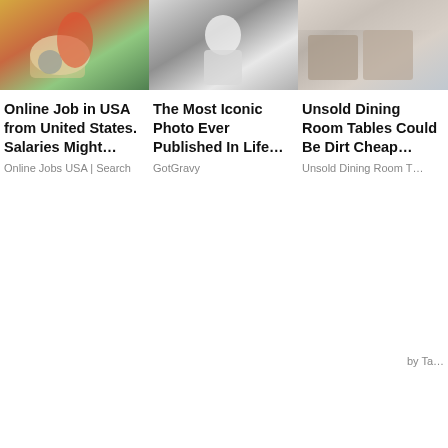[Figure (photo): Person sitting outdoors with food and drink on a table, colorful scene]
Online Job in USA from United States. Salaries Might…
Online Jobs USA | Search
[Figure (photo): Black and white photo of a person holding something, iconic Life magazine style]
The Most Iconic Photo Ever Published In Life…
GotGravy
[Figure (photo): Dining room furniture, chairs around a table]
Unsold Dining Room Tables Could Be Dirt Cheap…
Unsold Dining Room T…
by Ta…